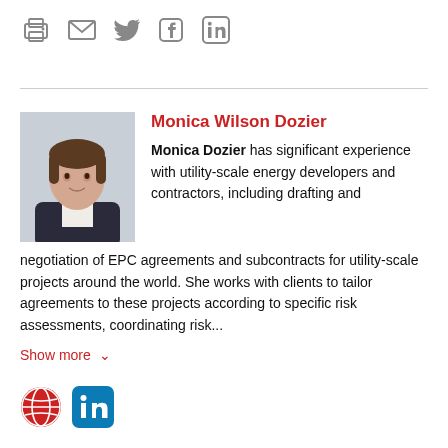[Figure (infographic): Social sharing icons: print, email, Twitter, Facebook, LinkedIn]
[Figure (photo): Professional headshot of Monica Wilson Dozier]
Monica Wilson Dozier
Monica Dozier has significant experience with utility-scale energy developers and contractors, including drafting and negotiation of EPC agreements and subcontracts for utility-scale projects around the world. She works with clients to tailor agreements to these projects according to specific risk assessments, coordinating risk...
Show more
[Figure (logo): Globe icon (red) and LinkedIn icon (blue)]